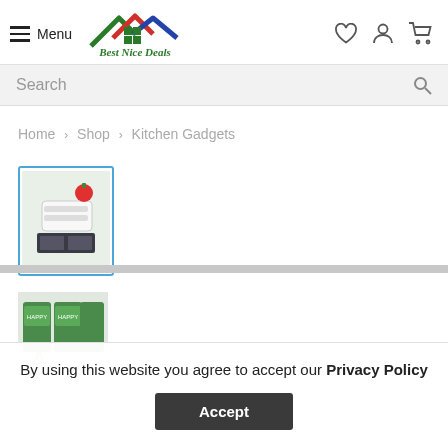Menu | Best Nice Deals | [heart icon] [user icon] [cart icon]
Search
Home > Shop > Kitchen Gadgets
[Figure (photo): Product thumbnail 1: kitchen gadget slicer with vegetables, blue border]
[Figure (photo): Product thumbnail 2: green packaged kitchen product]
By using this website you agree to accept our Privacy Policy
Accept